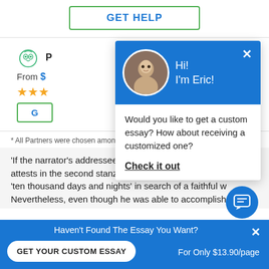[Figure (screenshot): GET HELP button with green border and blue text at the top of the page]
[Figure (screenshot): Product card with owl logo, price starting from $, star ratings, and GET HELP button]
* All Partners were chosen among ... Satisfaction Team
'If the narrator's addressee i... attests in the second stanz... 'ten thousand days and nights' in search of a faithful w... Nevertheless, even though he was able to accomplish all the...
[Figure (screenshot): Chat popup with blue header showing avatar of Eric, greeting 'Hi! I'm Eric!', message 'Would you like to get a custom essay? How about receiving a customized one?' and 'Check it out' link. Blue chat icon button bottom right.]
Haven't Found The Essay You Want?
GET YOUR CUSTOM ESSAY
For Only $13.90/page